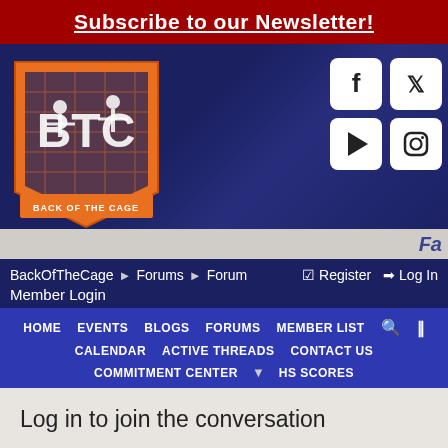Subscribe to our Newsletter!
[Figure (logo): Back Of The Cage (BTC) logo — orange shield with white figure silhouettes and text 'BACK OF THE CAGE']
[Figure (infographic): Social media icons: Facebook, Twitter, Google Play, Instagram]
Fa
BackOfTheCage › Forums › Forum   ☑ Register  ➡ Log In Member Login
HOME  EVENTS  BLOGS  FORUMS  MEMBER LIST  🔍  ‖  CALENDAR  ACTIVE THREADS  CONTACT US  COMMITMENT CENTER ▾  HS SCORES
Log in to join the conversation
Email Address or Login Name